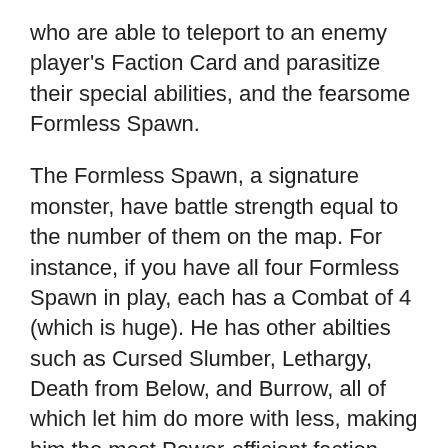who are able to teleport to an enemy player's Faction Card and parasitize their special abilities, and the fearsome Formless Spawn.
The Formless Spawn, a signature monster, have battle strength equal to the number of them on the map. For instance, if you have all four Formless Spawn in play, each has a Combat of 4 (which is huge). He has other abilties such as Cursed Slumber, Lethargy, Death from Below, and Burrow, all of which let him do more with less, making him the most Power-efficient faction around.
In our playtesting, The Sleeper has proven to be one of the most popular factions to play. He doesn't win any more often than any other faction, but man is he fun.
We're glad to back campaigns to bring you games